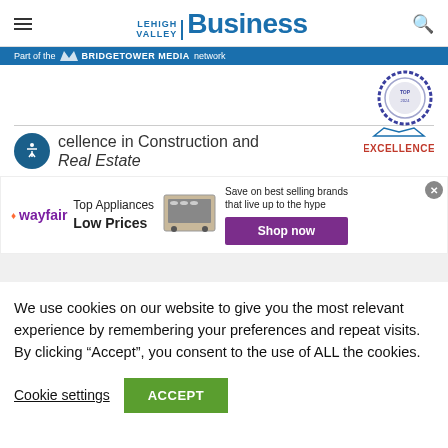Lehigh Valley Business
Part of the BRIDGETOWER MEDIA network
[Figure (logo): Circular badge/seal logo in blue and silver]
cellence in Construction and Real Estate
[Figure (screenshot): Wayfair advertisement: Top Appliances Low Prices, Save on best selling brands that live up to the hype, Shop now button]
We use cookies on our website to give you the most relevant experience by remembering your preferences and repeat visits. By clicking “Accept”, you consent to the use of ALL the cookies.
Cookie settings
ACCEPT